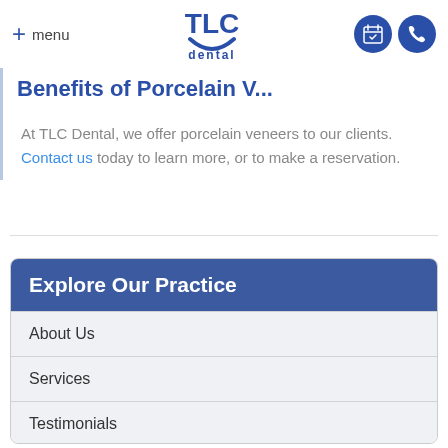+ menu | TLC dental | [calendar icon] [phone icon]
Benefits of Porcelain...
At TLC Dental, we offer porcelain veneers to our clients. Contact us today to learn more, or to make a reservation.
Explore Our Practice
About Us
Services
Testimonials
Specials